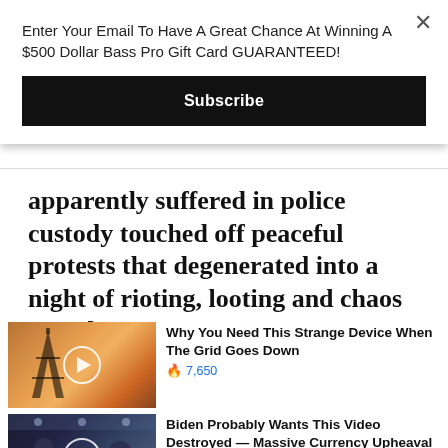Enter Your Email To Have A Great Chance At Winning A $500 Dollar Bass Pro Gift Card GUARANTEED!
Subscribe
apparently suffered in police custody touched off peaceful protests that degenerated into a night of rioting, looting and chaos Monday.
Promoted ×
[Figure (screenshot): Thumbnail image of electrical tower with orange sky background and play button overlay]
Why You Need This Strange Device When The Grid Goes Down
🔥 7,650
[Figure (screenshot): Thumbnail image of news interview/TV show with people in studio and play button overlay]
Biden Probably Wants This Video Destroyed — Massive Currency Upheaval Has Started
🔥 82,434